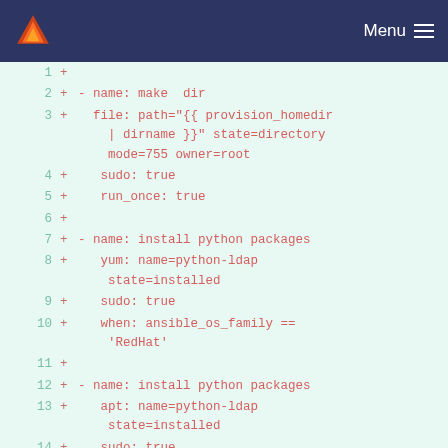Menu
[Figure (screenshot): Code diff view showing YAML ansible configuration lines 1-15 with line numbers in teal, plus signs in red/pink, and code in red on a light green background]